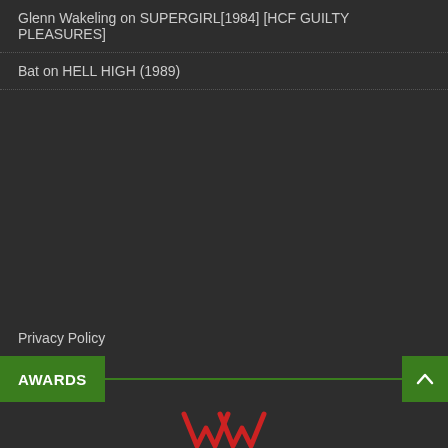Glenn Wakeling on SUPERGIRL[1984] [HCF GUILTY PLEASURES]
Bat on HELL HIGH (1989)
Privacy Policy
AWARDS